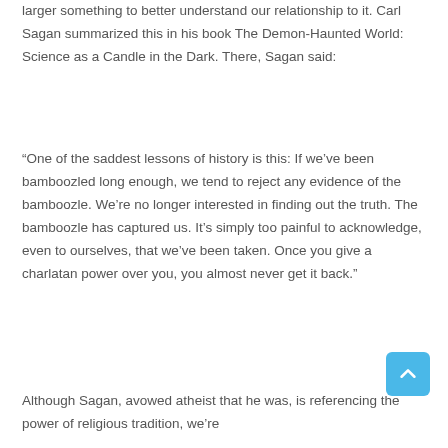larger something to better understand our relationship to it. Carl Sagan summarized this in his book The Demon-Haunted World: Science as a Candle in the Dark. There, Sagan said:
“One of the saddest lessons of history is this: If we’ve been bamboozled long enough, we tend to reject any evidence of the bamboozle. We’re no longer interested in finding out the truth. The bamboozle has captured us. It’s simply too painful to acknowledge, even to ourselves, that we’ve been taken. Once you give a charlatan power over you, you almost never get it back.”
Although Sagan, avowed atheist that he was, is referencing the power of religious tradition, we’re